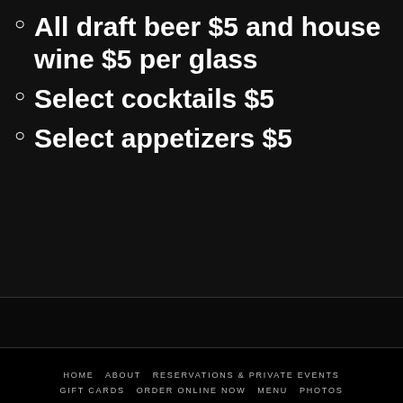All draft beer $5 and house wine $5 per glass
Select cocktails $5
Select appetizers $5
HOME  ABOUT  RESERVATIONS & PRIVATE EVENTS  GIFT CARDS  ORDER ONLINE NOW  MENU  PHOTOS  BLOG  CONTACT
©2015-2021 Irish Nobleman Pub | Chicago | All rights reserved. No portion of this site may be copied or reproduced without written consent. #IrishNobleman Irish Nobleman Pub | 1367 W Erie St Chicago, IL 60642 | 312-374-3487